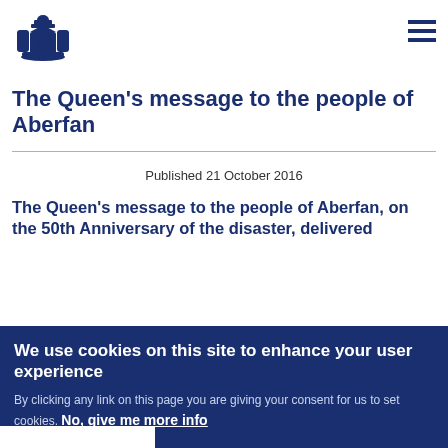[Figure (logo): UK Royal coat of arms / government crest logo in dark navy blue]
The Queen's message to the people of Aberfan
Published 21 October 2016
The Queen's message to the people of Aberfan, on the 50th Anniversary of the disaster, delivered
We use cookies on this site to enhance your user experience
By clicking any link on this page you are giving your consent for us to set cookies. No, give me more info